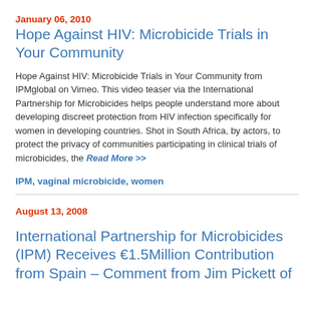January 06, 2010
Hope Against HIV: Microbicide Trials in Your Community
Hope Against HIV: Microbicide Trials in Your Community from IPMglobal on Vimeo. This video teaser via the International Partnership for Microbicides helps people understand more about developing discreet protection from HIV infection specifically for women in developing countries. Shot in South Africa, by actors, to protect the privacy of communities participating in clinical trials of microbicides, the Read More >>
IPM, vaginal microbicide, women
August 13, 2008
International Partnership for Microbicides (IPM) Receives €1.5Million Contribution from Spain – Comment from Jim Pickett of